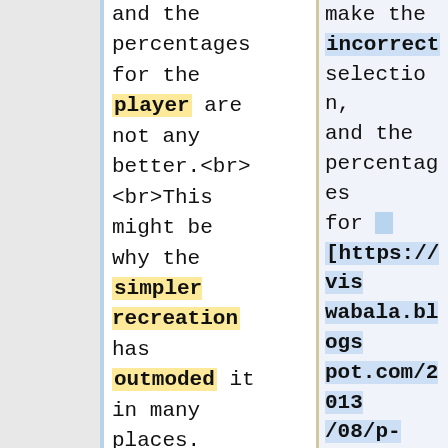and the percentages for the player are not any better.<br><br>This might be why the simpler recreation has outmoded it in many places. Nevertheless Chemin de Fer can still be performed in some Italian
make the incorrect selection, and the percentages for [https://viswabala.blogspot.com/2013/08/p-ramachander-great-wall-of-compass.html https://viswabala.blogspot.com/2013/08/p-ramachander-great-wall-of-